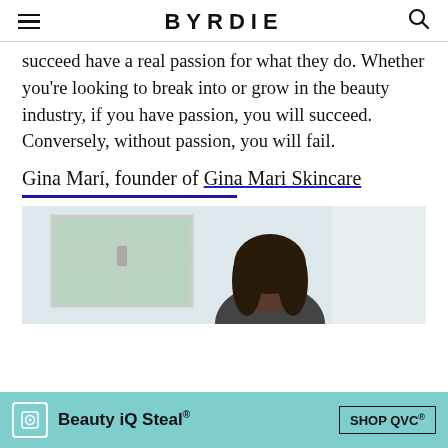BYRDIE
succeed have a real passion for what they do. Whether you're looking to break into or grow in the beauty industry, if you have passion, you will succeed. Conversely, without passion, you will fail.
Gina Marí, founder of Gina Mari Skincare
[Figure (photo): Photo of a woman with dark hair in a bright room with large windows and white curtains]
[Figure (other): Advertisement banner: Beauty iQ Steal® SHOP QVC®]